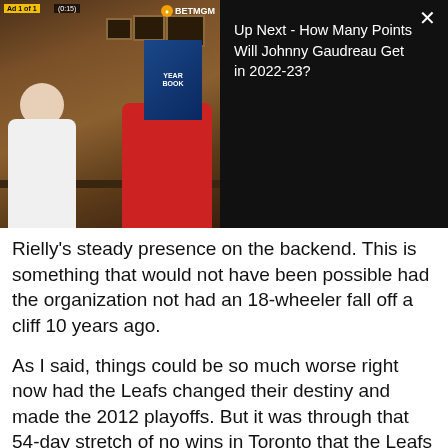[Figure (screenshot): Video player overlay showing a sports talk show with two people at a table. Ad label 'Ad 1 of 1 (0:15)' and BetMGM logo visible. Right side shows 'Up Next - How Many Points Will Johnny Gaudreau Get in 2022-23?' with close button.]
Rielly's steady presence on the backend. This is something that would not have been possible had the organization not had an 18-wheeler fall off a cliff 10 years ago.
As I said, things could be so much worse right now had the Leafs changed their destiny and made the 2012 playoffs. But it was through that 54-day stretch of no wins in Toronto that the Leafs earned themselves one of their most important pieces that will be part of the team for the next eight years.